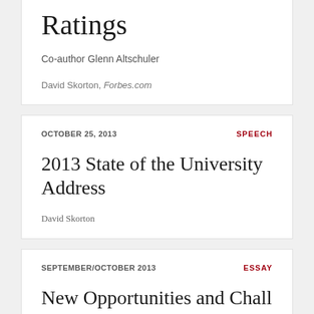Ratings
Co-author Glenn Altschuler
David Skorton, Forbes.com
OCTOBER 25, 2013
SPEECH
2013 State of the University Address
David Skorton
SEPTEMBER/OCTOBER 2013
ESSAY
New Opportunities and Challe…